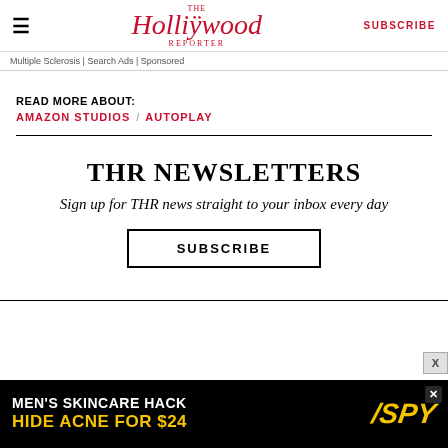The Hollywood Reporter | SUBSCRIBE
Multiple Sclerosis | Search Ads | Sponsored
READ MORE ABOUT:
AMAZON STUDIOS / AUTOPLAY
THR NEWSLETTERS
Sign up for THR news straight to your inbox every day
SUBSCRIBE
[Figure (other): Advertisement banner: MEN'S SKINCARE HACK / HIDE ACNE FOR $24 with SPY logo]